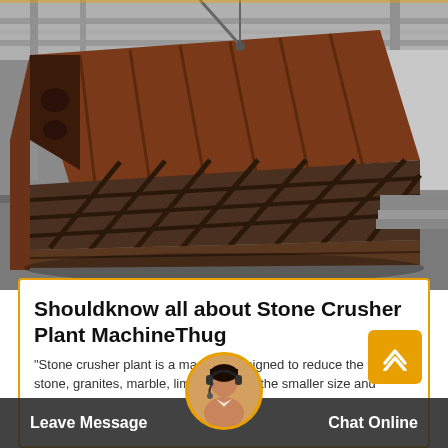[Figure (photo): Large industrial steel vibrating screen or grizzly feeder machine photographed in a warehouse/factory setting. The machine has a large angled metal frame with a grid/bar screen section. The steel structure is reddish-brown and appears heavy-duty. A worker is partially visible in the background.]
Shouldknow all about Stone Crusher Plant MachineThug
"Stone crusher plant is a machine designed to reduce the large stone, granites, marble, lime rocks into the smaller size and